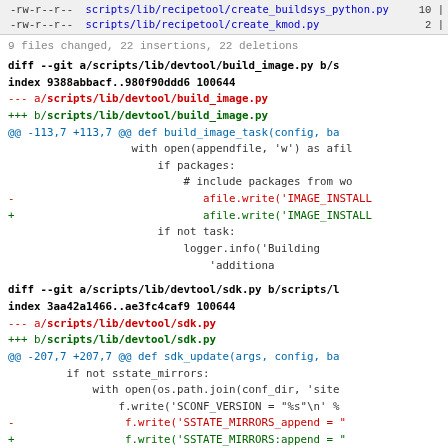| mode | filename | lines |
| --- | --- | --- |
| -rw-r--r-- | scripts/lib/recipetool/create_buildsys_python.py | 10 | |
| -rw-r--r-- | scripts/lib/recipetool/create_kmod.py | 2 | |
9 files changed, 22 insertions, 22 deletions
diff --git a/scripts/lib/devtool/build_image.py b/s
index 9388abbacf..980f90ddd6 100644
--- a/scripts/lib/devtool/build_image.py
+++ b/scripts/lib/devtool/build_image.py
@@ -113,7 +113,7 @@ def build_image_task(config, ba
                    with open(appendfile, 'w') as afil
                        if packages:
                            # include packages from wo
-                            afile.write('IMAGE_INSTALL
+                            afile.write('IMAGE_INSTALL
                            if not task:
                                logger.info('Building
                                            'additiona
diff --git a/scripts/lib/devtool/sdk.py b/scripts/l
index 3aa42a1466..ae3fc4caf9 100644
--- a/scripts/lib/devtool/sdk.py
+++ b/scripts/lib/devtool/sdk.py
@@ -207,7 +207,7 @@ def sdk_update(args, config, ba
        if not sstate_mirrors:
            with open(os.path.join(conf_dir, 'site
                f.write('SCONF_VERSION = "%s"\n' %
-                f.write('SSTATE_MIRRORS_append = "
+                f.write('SSTATE_MIRRORS:append = "
    finally: